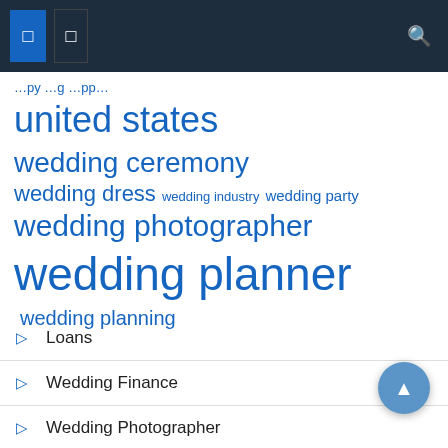navigation header with menu icons and search
united states  wedding ceremony  wedding dress  wedding industry  wedding party  wedding photographer  wedding planner  wedding planning
Loans
Wedding Finance
Wedding Photographer
Wedding Planner